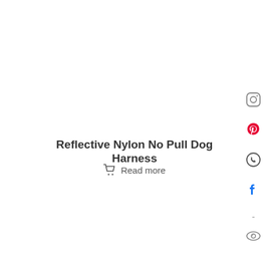Reflective Nylon No Pull Dog Harness
Read more
[Figure (other): Social media sidebar icons: Instagram (outline), Pinterest (pink), WhatsApp (green), Facebook (blue), dash/minus separator, eye icon, share icon (pink)]